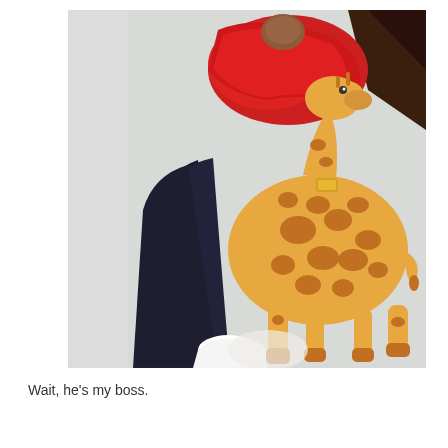[Figure (photo): A photo taken from above showing a person lying down wearing a red top and dark pants with white socks, next to a stuffed giraffe toy on a light-colored textured surface.]
Wait, he's my boss.